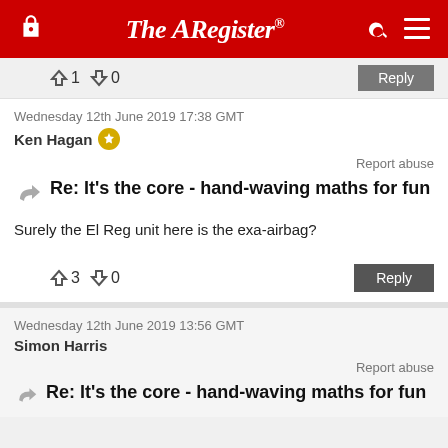The Register
↑1 ↓0  Reply
Wednesday 12th June 2019 17:38 GMT
Ken Hagan
Report abuse
Re: It's the core - hand-waving maths for fun
Surely the El Reg unit here is the exa-airbag?
↑3 ↓0  Reply
Wednesday 12th June 2019 13:56 GMT
Simon Harris
Report abuse
Re: It's the core - hand-waving maths for fun